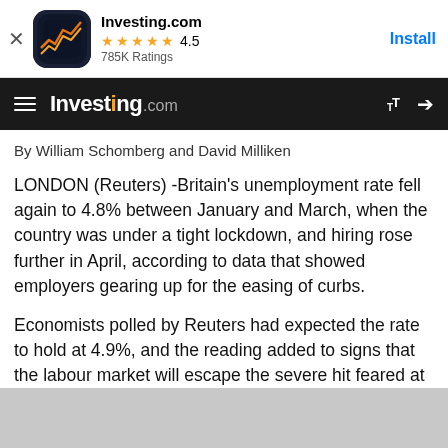[Figure (screenshot): App store banner for Investing.com app with icon, star rating 4.5, 785K Ratings, and Install button]
[Figure (screenshot): Investing.com navigation bar with hamburger menu, logo, font size controls and share icon]
By William Schomberg and David Milliken
LONDON (Reuters) -Britain's unemployment rate fell again to 4.8% between January and March, when the country was under a tight lockdown, and hiring rose further in April, according to data that showed employers gearing up for the easing of curbs.
Economists polled by Reuters had expected the rate to hold at 4.9%, and the reading added to signs that the labour market will escape the severe hit feared at the onset of the coronavirus pandemic, thanks mostly to